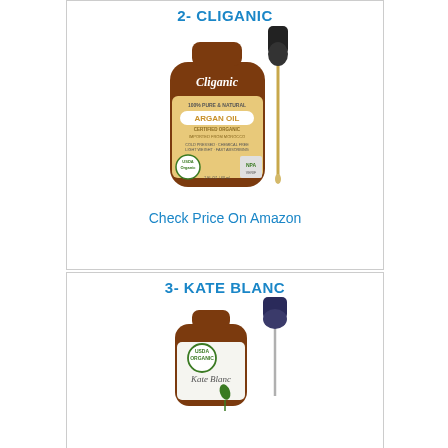2- CLIGANIC
[Figure (photo): Cliganic 100% Pure & Natural Argan Oil bottle with dropper, amber glass bottle with gold/beige label, USDA Organic certified]
Check Price On Amazon
3- KATE BLANC
[Figure (photo): Kate Blanc Argan Oil small amber glass bottle with dropper, USDA Organic certified seal on label]